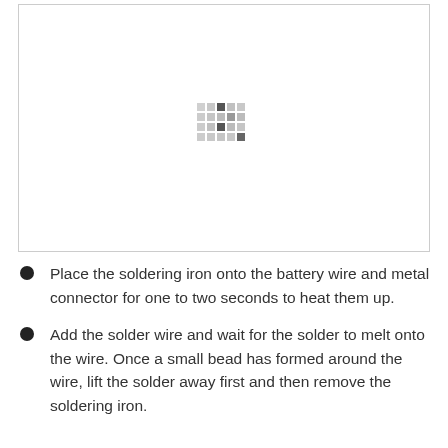[Figure (illustration): A white rectangular bordered box containing a faint dot/pixel pattern in the center, representing a placeholder or partially loaded image of a soldering step.]
Place the soldering iron onto the battery wire and metal connector for one to two seconds to heat them up.
Add the solder wire and wait for the solder to melt onto the wire. Once a small bead has formed around the wire, lift the solder away first and then remove the soldering iron.